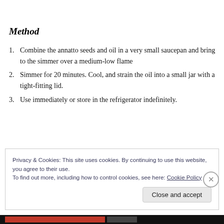Method
Combine the annatto seeds and oil in a very small saucepan and bring to the simmer over a medium-low flame
Simmer for 20 minutes. Cool, and strain the oil into a small jar with a tight-fitting lid.
Use immediately or store in the refrigerator indefinitely.
Privacy & Cookies: This site uses cookies. By continuing to use this website, you agree to their use.
To find out more, including how to control cookies, see here: Cookie Policy